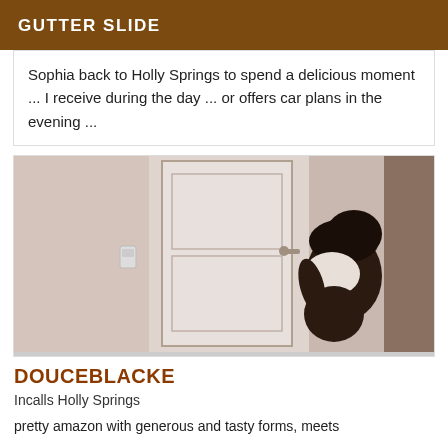GUTTER SLIDE
Sophia back to Holly Springs to spend a delicious moment ... I receive during the day ... or offers car plans in the evening ...
[Figure (photo): A person posing near a white door against a white wall.]
DOUCEBLACKE
Incalls Holly Springs
pretty amazon with generous and tasty forms, meets